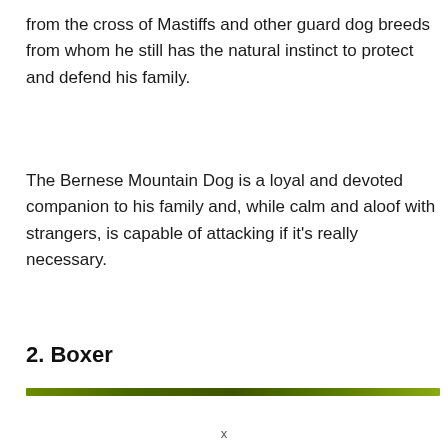from the cross of Mastiffs and other guard dog breeds from whom he still has the natural instinct to protect and defend his family.
The Bernese Mountain Dog is a loyal and devoted companion to his family and, while calm and aloof with strangers, is capable of attacking if it's really necessary.
2. Boxer
[Figure (other): A horizontal gradient bar transitioning from olive/yellow-green on the left to dark green in the middle and back to lighter green-yellow on the right.]
x